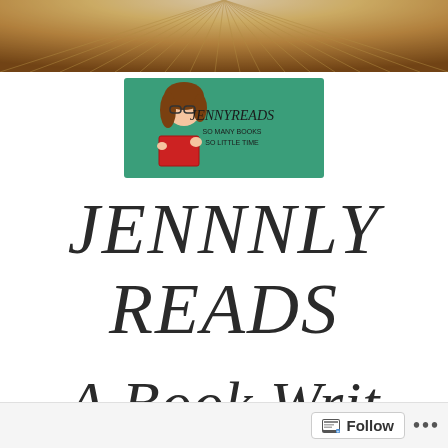[Figure (photo): Top banner showing fanned book pages in a circular arrangement with warm orange/brown tones]
[Figure (logo): JennlyReads logo: green background with illustrated woman reading a red book, text reads JENNYREADS SO MANY BOOKS SO LITTLE TIME]
JENNNLY
READS
A Book Writ...
Follow ...